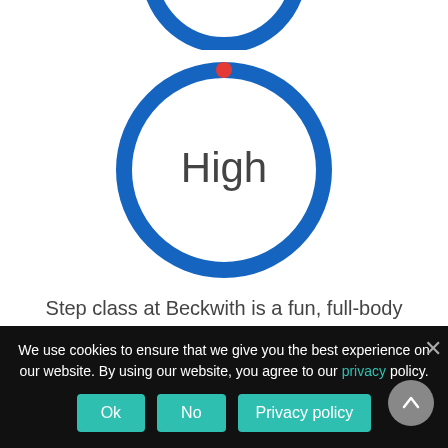[Figure (other): Partial blue circle ring at top of page (cropped)]
[Figure (donut-chart): Blue circle ring with small red dot at top, containing the text 'High' in the center]
Step class at Beckwith is a fun, full-body workout for all levels and abilities!
The ultimate feel-good class for everyone!
Keep an eye on the Timetable page to book you
We use cookies to ensure that we give you the best experience on our website. By using our website, you agree to our privacy policy.
Ok
No
Privacy policy